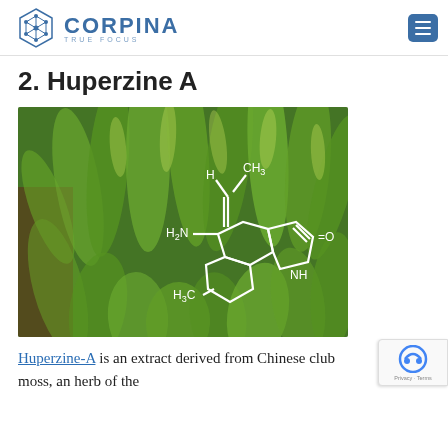CORPINA TRUE FOCUS
2. Huperzine A
[Figure (photo): Photograph of Chinese club moss plant with white chemical structure diagram of Huperzine-A overlaid, showing H, CH3, H2N, =O, NH, H3C groups]
Huperzine-A is an extract derived from Chinese club moss, an herb of the